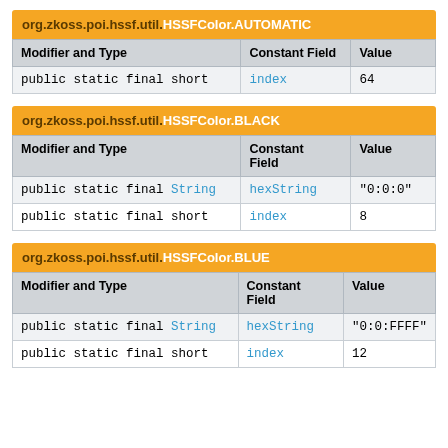org.zkoss.poi.hssf.util.HSSFColor.AUTOMATIC
| Modifier and Type | Constant Field | Value |
| --- | --- | --- |
| public static final short | index | 64 |
org.zkoss.poi.hssf.util.HSSFColor.BLACK
| Modifier and Type | Constant Field | Value |
| --- | --- | --- |
| public static final String | hexString | "0:0:0" |
| public static final short | index | 8 |
org.zkoss.poi.hssf.util.HSSFColor.BLUE
| Modifier and Type | Constant Field | Value |
| --- | --- | --- |
| public static final String | hexString | "0:0:FFFF" |
| public static final short | index | 12 |